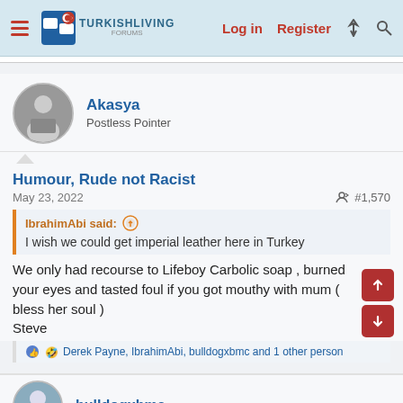TurkishLiving Forums — Log in | Register
Akasya
Postless Pointer
Humour, Rude not Racist
May 23, 2022   #1,570
IbrahimAbi said: I wish we could get imperial leather here in Turkey
We only had recourse to Lifeboy Carbolic soap , burned your eyes and tasted foul if you got mouthy with mum ( bless her soul )
Steve
Derek Payne, IbrahimAbi, bulldogxbmc and 1 other person
bulldogxbmc